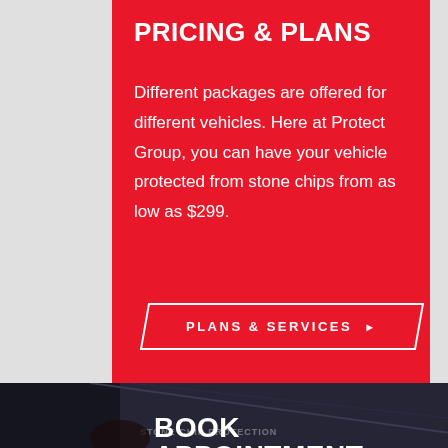PRICING & PLANS
Different packages are offered for different vehicles. Here at Protect Group, you can have your vehicle protected from stone chips from as low as $299.
[Figure (infographic): Parallelogram-shaped button with white border and text 'PLANS & SERVICES ▶' on red background]
[Figure (photo): Dark photo background showing stone chip protection service, partial view of car and text 'STONE CHIP PROTECTION']
BOOK APPOINTMENT